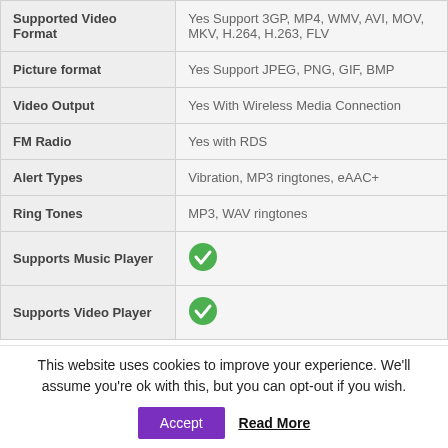| Feature | Value |
| --- | --- |
| Supported Video Format | Yes Support 3GP, MP4, WMV, AVI, MOV, MKV, H.264, H.263, FLV |
| Picture format | Yes Support JPEG, PNG, GIF, BMP |
| Video Output | Yes With Wireless Media Connection |
| FM Radio | Yes with RDS |
| Alert Types | Vibration, MP3 ringtones, eAAC+ |
| Ring Tones | MP3, WAV ringtones |
| Supports Music Player | ✓ |
| Supports Video Player | ✓ |
This website uses cookies to improve your experience. We'll assume you're ok with this, but you can opt-out if you wish.
Accept | Read More